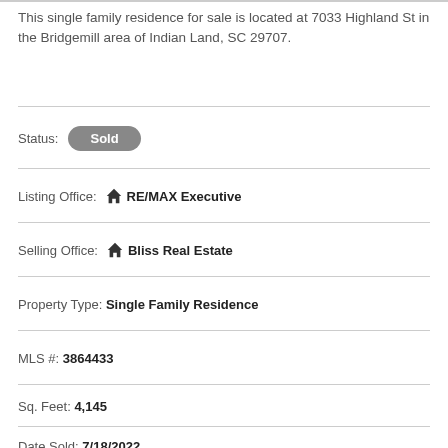This single family residence for sale is located at 7033 Highland St in the Bridgemill area of Indian Land, SC 29707.
Status: Sold
Listing Office: RE/MAX Executive
Selling Office: Bliss Real Estate
Property Type: Single Family Residence
MLS #: 3864433
Sq. Feet: 4,145
Date Sold: 7/18/2022